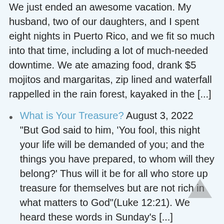We just ended an awesome vacation. My husband, two of our daughters, and I spent eight nights in Puerto Rico, and we fit so much into that time, including a lot of much-needed downtime. We ate amazing food, drank $5 mojitos and margaritas, zip lined and waterfall rappelled in the rain forest, kayaked in the [...]
What is Your Treasure? August 3, 2022 “But God said to him, ‘You fool, this night your life will be demanded of you; and the things you have prepared, to whom will they belong?’ Thus will it be for all who store up treasure for themselves but are not rich in what matters to God”(Luke 12:21). We heard these words in Sunday’s [...]
Dear Father-To-Be July 27, 2022 Dear Anthony, The time is getting closer for...